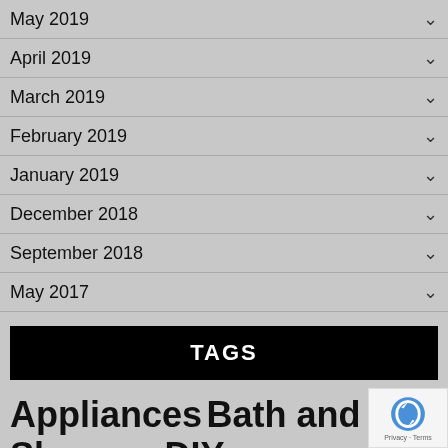May 2019
April 2019
March 2019
February 2019
January 2019
December 2018
September 2018
May 2017
TAGS
Appliances Bath and Showers DIY Doors and Windows Flooring Furniture Gardening Heating and Air Conditioning Home and Garden Home Decor Ho...